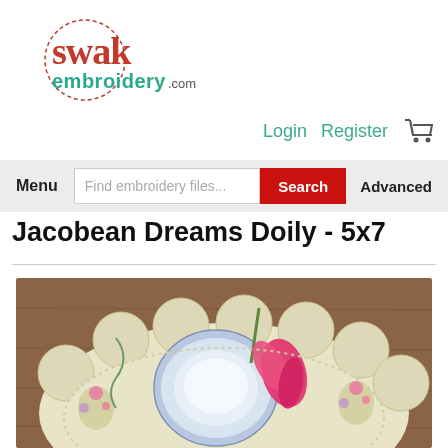[Figure (logo): SWAK Embroidery .com logo with decorative dotted circle and red/teal lettering]
Login   Register   [cart icon]
Menu   Find embroidery files...   Search   Advanced
Jacobean Dreams Doily - 5x7
[Figure (photo): Top-down photo of a white embroidered doily with scalloped edges and floral Jacobean embroidery designs, with a blue teacup and pink tulip flower placed on top, on a brown wooden surface]